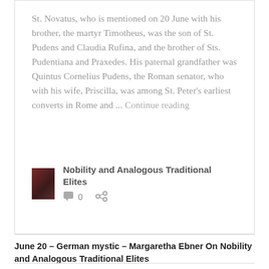St. Novatus, who is mentioned on 20 June with his brother, the martyr Timotheus, was the son of St. Pudens and Claudia Rufina, and the brother of Sts. Pudentiana and Praxedes. His paternal grandfather was Quintus Cornelius Pudens, the Roman senator, who with his wife, Priscilla, was among St. Peter's earliest converts in Rome and ... Continue reading
[Figure (illustration): Small book cover thumbnail with dark red/brown tones]
Nobility and Analogous Traditional Elites  0
June 20 – German mystic – Margaretha Ebner On Nobility and Analogous Traditional Elites